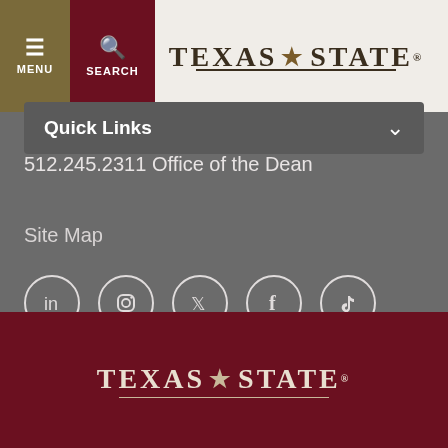TEXAS STATE
512.245.3331 Graduate Programs
512.245.2311 Office of the Dean
Site Map
[Figure (illustration): Social media icons in circles: LinkedIn, Instagram, Twitter, Facebook, TikTok]
Quick Links
TEXAS STATE